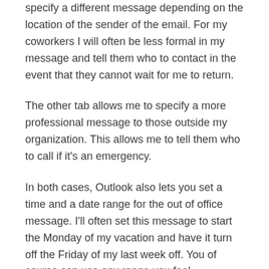specify a different message depending on the location of the sender of the email. For my coworkers I will often be less formal in my message and tell them who to contact in the event that they cannot wait for me to return.
The other tab allows me to specify a more professional message to those outside my organization. This allows me to tell them who to call if it's an emergency.
In both cases, Outlook also lets you set a time and a date range for the out of office message. I'll often set this message to start the Monday of my vacation and have it turn off the Friday of my last week off. You of course can use any range you feel comfortable with.
Also in both cases, all email sent during the Out of Office time I set, are sent with my default signature. This way I can control the message and the look of my email.
So tell me do you use this feature?